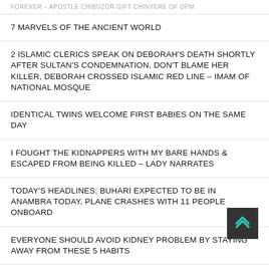FOREVER – APOSTLE CHIBUZOR GIFT CHINYERE OF OPM
7 MARVELS OF THE ANCIENT WORLD
2 ISLAMIC CLERICS SPEAK ON DEBORAH'S DEATH SHORTLY AFTER SULTAN'S CONDEMNATION, DON'T BLAME HER KILLER, DEBORAH CROSSED ISLAMIC RED LINE – IMAM OF NATIONAL MOSQUE
IDENTICAL TWINS WELCOME FIRST BABIES ON THE SAME DAY
I FOUGHT THE KIDNAPPERS WITH MY BARE HANDS & ESCAPED FROM BEING KILLED – LADY NARRATES
TODAY'S HEADLINES: BUHARI EXPECTED TO BE IN ANAMBRA TODAY, PLANE CRASHES WITH 11 PEOPLE ONBOARD
EVERYONE SHOULD AVOID KIDNEY PROBLEM BY STAYING AWAY FROM THESE 5 HABITS
TODAY'S HEADLINES: GOODLUCK JONATHAN GETS NEW APPOINTMENT, WHY I JOINED APC, GODSWILL AKPABIO